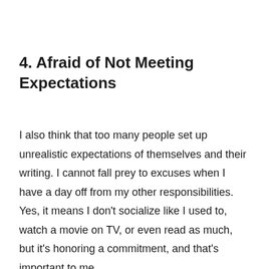4. Afraid of Not Meeting Expectations
I also think that too many people set up unrealistic expectations of themselves and their writing. I cannot fall prey to excuses when I have a day off from my other responsibilities. Yes, it means I don’t socialize like I used to, watch a movie on TV, or even read as much, but it’s honoring a commitment, and that’s important to me.